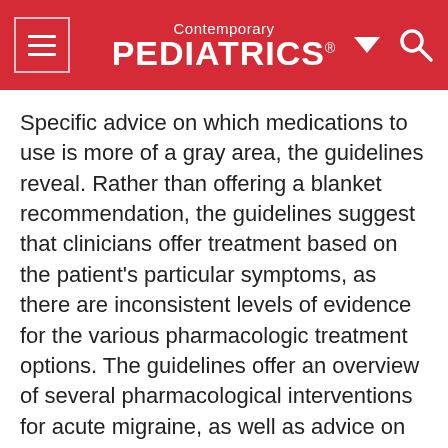Contemporary PEDIATRICS
Specific advice on which medications to use is more of a gray area, the guidelines reveal. Rather than offering a blanket recommendation, the guidelines suggest that clinicians offer treatment based on the patient's particular symptoms, as there are inconsistent levels of evidence for the various pharmacologic treatment options. The guidelines offer an overview of several pharmacological interventions for acute migraine, as well as advice on counseling patients about
This website stores data such as cookies to enable essential site functionality, as well as marketing, personalization, and analytics. Cookie Policy
Accept
Deny